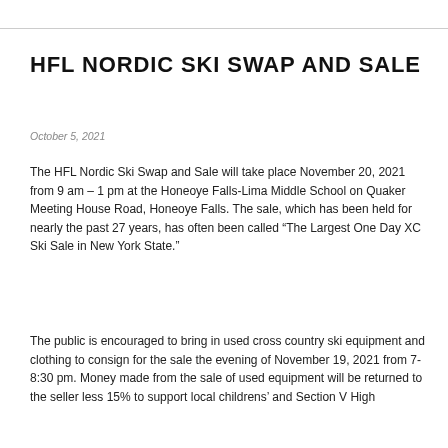HFL NORDIC SKI SWAP AND SALE
October 5, 2021
The HFL Nordic Ski Swap and Sale will take place November 20, 2021 from 9 am – 1 pm at the Honeoye Falls-Lima Middle School on Quaker Meeting House Road, Honeoye Falls.  The sale, which has been held for nearly the past 27 years, has often been called “The Largest One Day XC Ski Sale in New York State.”
The public is encouraged to bring in used cross country ski equipment and clothing to consign for the sale the evening of November 19, 2021 from 7-8:30 pm.   Money made from the sale of used equipment will be returned to the seller less 15% to support local childrens’ and Section V High